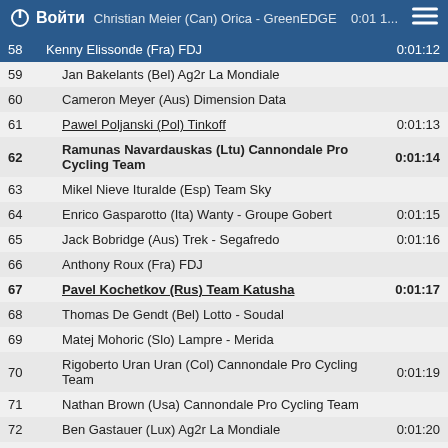Войти
| # | Name | Time |
| --- | --- | --- |
| 58 | Christian Meier (Can) Orica - GreenEDGE | 0:01:1... |
| 58 | Kenny Elissonde (Fra) FDJ | 0:01:12 |
| 59 | Jan Bakelants (Bel) Ag2r La Mondiale |  |
| 60 | Cameron Meyer (Aus) Dimension Data |  |
| 61 | Pawel Poljanski (Pol) Tinkoff | 0:01:13 |
| 62 | Ramunas Navardauskas (Ltu) Cannondale Pro Cycling Team | 0:01:14 |
| 63 | Mikel Nieve Ituralde (Esp) Team Sky |  |
| 64 | Enrico Gasparotto (Ita) Wanty - Groupe Gobert | 0:01:15 |
| 65 | Jack Bobridge (Aus) Trek - Segafredo | 0:01:16 |
| 66 | Anthony Roux (Fra) FDJ |  |
| 67 | Pavel Kochetkov (Rus) Team Katusha | 0:01:17 |
| 68 | Thomas De Gendt (Bel) Lotto - Soudal |  |
| 69 | Matej Mohoric (Slo) Lampre - Merida |  |
| 70 | Rigoberto Uran Uran (Col) Cannondale Pro Cycling Team | 0:01:19 |
| 71 | Nathan Brown (Usa) Cannondale Pro Cycling Team |  |
| 72 | Ben Gastauer (Lux) Ag2r La Mondiale | 0:01:20 |
| 73 | Gaëtan Bille (Bel) Wanty - Groupe Gobert | 0:01:21 |
| 74 | Patrick Gretsch (Ger) Ag2r La Mondiale |  |
| 75 | Bart De Clercq (Bel) Lotto - Soudal | 0:01:22 |